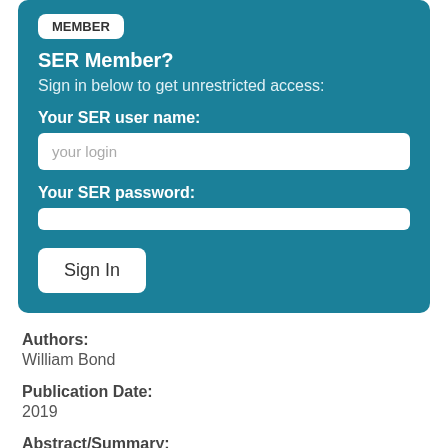[Figure (screenshot): SER Member login form with teal background, containing username and password fields and a Sign In button]
Authors:
William Bond
Publication Date:
2019
Abstract/Summary:
Afforestation has been widely promoted to 'restore'